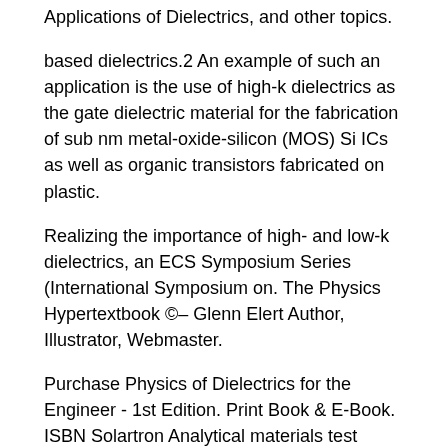Applications of Dielectrics, and other topics.
based dielectrics.2 An example of such an application is the use of high-k dielectrics as the gate dielectric material for the fabrication of sub nm metal-oxide-silicon (MOS) Si ICs as well as organic transistors fabricated on plastic.
Realizing the importance of high- and low-k dielectrics, an ECS Symposium Series (International Symposium on. The Physics Hypertextbook ©– Glenn Elert Author, Illustrator, Webmaster.
Purchase Physics of Dielectrics for the Engineer - 1st Edition. Print Book & E-Book. ISBN Solartron Analytical materials test equipment is ideal for dielectric constant, PZT, dielectric materials, dielectric loss and other dielectric testing.
Recent advances in dielectric materials. by Ai Huang. Nova Science Publishers pages $ Hardcover TK Space charge polarisation.
Frequency, temperature dependence of ε r and energy loss. Relaxation frequency. Temperature effect. Energy loss in dielectrics.